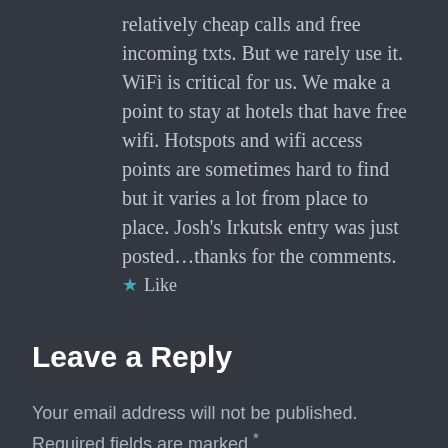relatively cheap calls and free incoming txts. But we rarely use it. WiFi is critical for us. We make a point to stay at hotels that have free wifi. Hotspots and wifi access points are sometimes hard to find but it varies a lot from place to place. Josh's Irkutsk entry was just posted…thanks for the comments.
★ Like
Leave a Reply
Your email address will not be published. Required fields are marked *